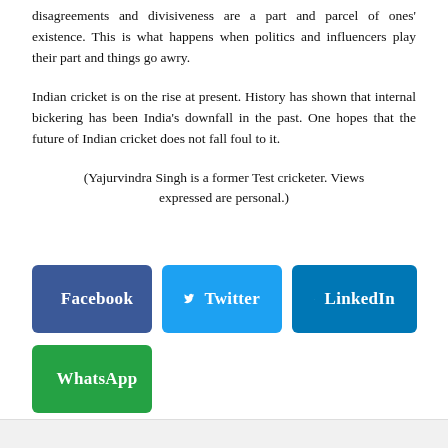disagreements and divisiveness are a part and parcel of ones' existence. This is what happens when politics and influencers play their part and things go awry.
Indian cricket is on the rise at present. History has shown that internal bickering has been India's downfall in the past. One hopes that the future of Indian cricket does not fall foul to it.
(Yajurvindra Singh is a former Test cricketer. Views expressed are personal.)
[Figure (infographic): Social media share buttons: Facebook (blue), Twitter (light blue), LinkedIn (dark blue), WhatsApp (green)]